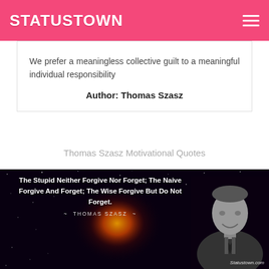STATUSTOWN
We prefer a meaningless collective guilt to a meaningful individual responsibility
Author: Thomas Szasz
Thomas Szasz Motivational Quotes
[Figure (photo): Dark space background image with nebula and portrait of Thomas Szasz on the right. Quote text overlay reads: The Stupid Neither Forgive Nor Forget; The Naive Forgive And Forget; The Wise Forgive But Do Not Forget. ~ THOMAS SZASZ ~ with Statustown.com watermark in bottom right corner.]